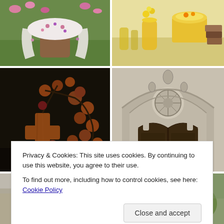[Figure (photo): Top-left: photo of a floral cloth draped over a tree stump on green grass with pink flowers in background]
[Figure (photo): Top-right: photo of yellow cake, flowers, and yellow glassware on a table]
[Figure (photo): Middle-left: close-up photo of a wooden rosary cross and brown beads on dark background]
[Figure (photo): Middle-right: photo of ornate Gothic cathedral entrance with large wooden doors and stone arch carvings]
Privacy & Cookies: This site uses cookies. By continuing to use this website, you agree to their use.
To find out more, including how to control cookies, see here: Cookie Policy
[Figure (photo): Bottom-left partial: partially visible photo]
[Figure (photo): Bottom-right partial: partially visible photo with greenery]